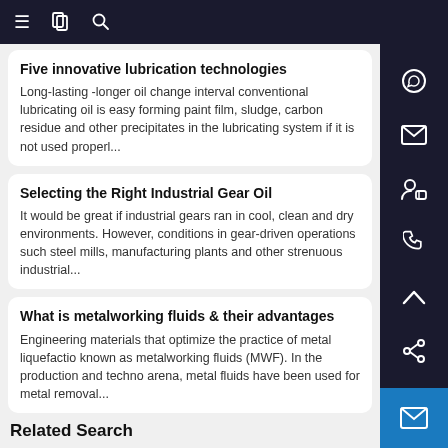Navigation bar with menu, document, and search icons
Five innovative lubrication technologies
Long-lasting -longer oil change interval conventional lubricating oil is easy forming paint film, sludge, carbon residue and other precipitates in the lubricating system if it is not used properl...
Selecting the Right Industrial Gear Oil
It would be great if industrial gears ran in cool, clean and dry environments. However, conditions in gear-driven operations such steel mills, manufacturing plants and other strenuous industrial...
What is metalworking fluids & their advantages
Engineering materials that optimize the practice of metal liquefactio known as metalworking fluids (MWF). In the production and techno arena, metal fluids have been used for metal removal...
Related Search
Electrical Grease
Rapid Tap Heavy Duty Cutting Fluid
Rust Inhibitor Oil
Radiator Antifreeze
Diesel Engine Oil